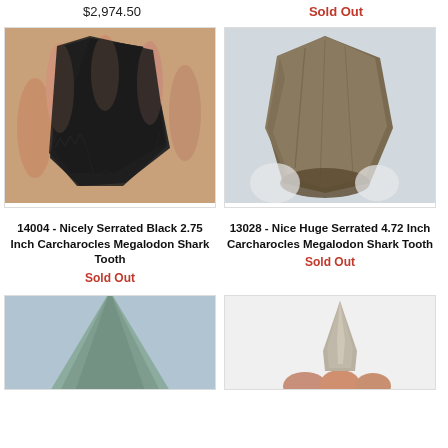$2,974.50
Sold Out
[Figure (photo): Hand holding a dark/black serrated Megalodon shark tooth fossil]
[Figure (photo): Gloved hand holding a large serrated Megalodon shark tooth fossil with brownish coloring]
14004 - Nicely Serrated Black 2.75 Inch Carcharocles Megalodon Shark Tooth
Sold Out
13028 - Nice Huge Serrated 4.72 Inch Carcharocles Megalodon Shark Tooth
Sold Out
[Figure (photo): Partial view of a light blue/gray Megalodon shark tooth on light background]
[Figure (photo): Hand holding a small pointed shark tooth fossil against white background]